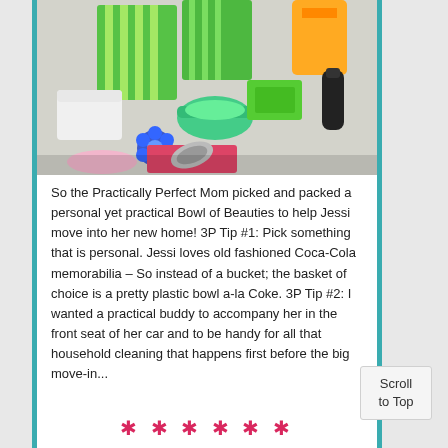[Figure (photo): A colorful collection of household and personal care products in a bowl, including green striped boxes, a teal/green brush, blue flower accessory, wipes, and various other items on a light background.]
So the Practically Perfect Mom picked and packed a personal yet practical Bowl of Beauties to help Jessi move into her new home! 3P Tip #1: Pick something that is personal. Jessi loves old fashioned Coca-Cola memorabilia – So instead of a bucket; the basket of choice is a pretty plastic bowl a-la Coke. 3P Tip #2: I wanted a practical buddy to accompany her in the front seat of her car and to be handy for all that household cleaning that happens first before the big move-in...
* * * * * *
Scroll to Top